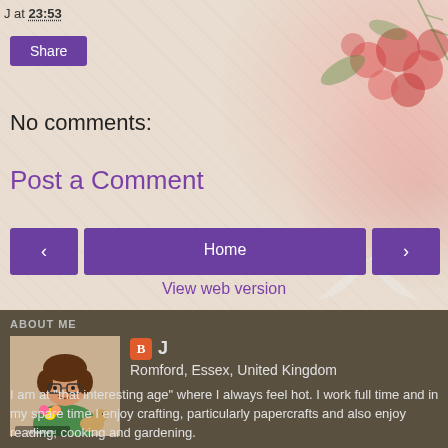J at 23:53
Share
No comments:
Post a Comment
< Home >
View web version
ABOUT ME
[Figure (illustration): Avatar illustration of a person with brown hair wearing glasses and green shirt, with a small dog, and WeeWorld logo]
J
Romford, Essex, United Kingdom
I am at "that interesting age" where I always feel hot. I work full time and in my spare time I enjoy crafting, particularly papercrafts and also enjoy reading, cooking and gardening.
View my complete profile